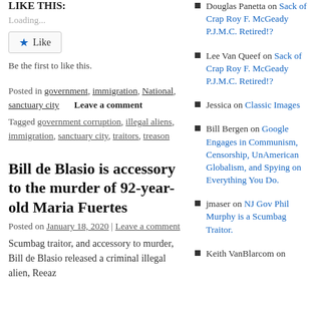LIKE THIS:
Loading...
Like
Be the first to like this.
Posted in government, immigration, National, sanctuary city    Leave a comment
Tagged government corruption, illegal aliens, immigration, sanctuary city, traitors, treason
Bill de Blasio is accessory to the murder of 92-year-old Maria Fuertes
Posted on January 18, 2020 | Leave a comment
Scumbag traitor, and accessory to murder, Bill de Blasio released a criminal illegal alien, Reeaz
Douglas Panetta on Sack of Crap Roy F. McGeady P.J.M.C. Retired!?
Lee Van Queef on Sack of Crap Roy F. McGeady P.J.M.C. Retired!?
Jessica on Classic Images
Bill Bergen on Google Engages in Communism, Censorship, UnAmerican Globalism, and Spying on Everything You Do.
jmaser on NJ Gov Phil Murphy is a Scumbag Traitor.
Keith VanBlarcom on